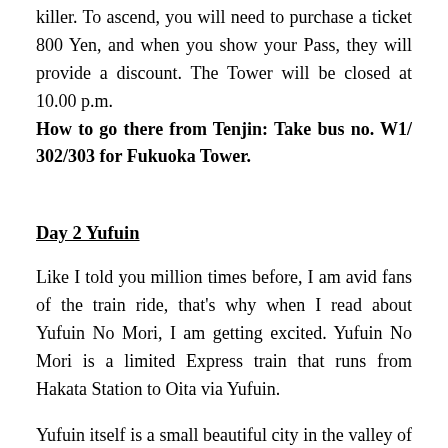killer. To ascend, you will need to purchase a ticket 800 Yen, and when you show your Pass, they will provide a discount. The Tower will be closed at 10.00 p.m. How to go there from Tenjin: Take bus no. W1/ 302/303 for Fukuoka Tower.
Day 2 Yufuin
Like I told you million times before, I am avid fans of the train ride, that's why when I read about Yufuin No Mori, I am getting excited. Yufuin No Mori is a limited Express train that runs from Hakata Station to Oita via Yufuin.
Yufuin itself is a small beautiful city in the valley of Mount Yufu which popular for Onsen Bath among the locals. For the avid fans of Ghibli, you will be ecstatic to visit Yufuin Floral Village.